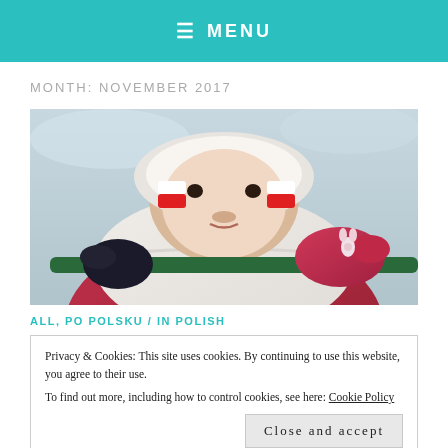≡ MENU
MONTH: NOVEMBER 2017
[Figure (photo): Close-up photo of a child wearing a white fluffy coat and pink gloves, with red and white face paint on cheeks (Polish flag colors), holding a green rail in winter outdoor setting.]
ALL, PO POLSKU / IN POLISH
Privacy & Cookies: This site uses cookies. By continuing to use this website, you agree to their use.
To find out more, including how to control cookies, see here: Cookie Policy
Close and accept
jako nastolatek nie posługiwał się polszczyzną na poziomie...